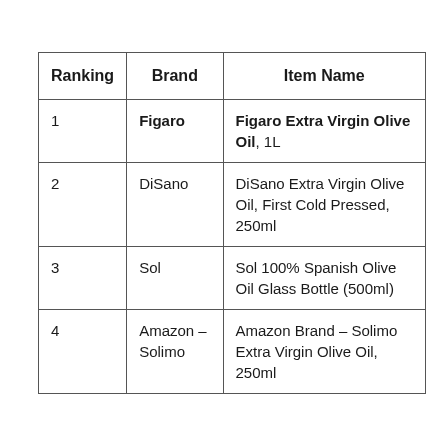| Ranking | Brand | Item Name |
| --- | --- | --- |
| 1 | Figaro | Figaro Extra Virgin Olive Oil, 1L |
| 2 | DiSano | DiSano Extra Virgin Olive Oil, First Cold Pressed, 250ml |
| 3 | Sol | Sol 100% Spanish Olive Oil Glass Bottle (500ml) |
| 4 | Amazon – Solimo | Amazon Brand – Solimo Extra Virgin Olive Oil, 250ml |